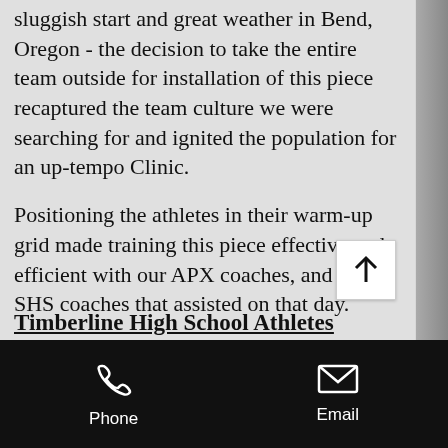sluggish start and great weather in Bend, Oregon - the decision to take the entire team outside for installation of this piece recaptured the team culture we were searching for and ignited the population for an up-tempo Clinic.
Positioning the athletes in their warm-up grid made training this piece effective and efficient with our APX coaches, and the SHS coaches that assisted on that day.
Always keep an 'outside-the-box' mentality when it comes to training any age grouping, staganation leads to monotony - monotony leads to loss of interest. As a coach at the school levdl, attendance drops and your program suffers injuries, lack of performance and losses. As a STC professional, you lose a client yo lose a paycheck.
Timberline High School Athletes
angles throughout their bodies as part of a